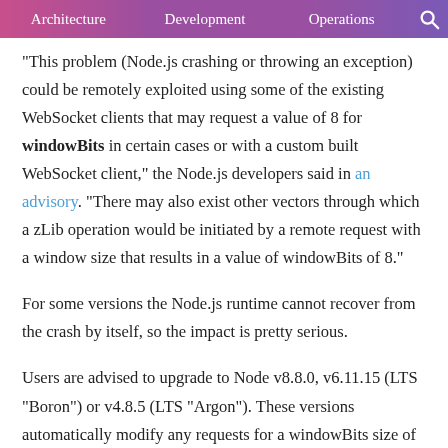Architecture | Development | Operations
“This problem (Node.js crashing or throwing an exception) could be remotely exploited using some of the existing WebSocket clients that may request a value of 8 for windowBits in certain cases or with a custom built WebSocket client,” the Node.js developers said in an advisory. “There may also exist other vectors through which a zLib operation would be initiated by a remote request with a window size that results in a value of windowBits of 8.”
For some versions the Node.js runtime cannot recover from the crash by itself, so the impact is pretty serious.
Users are advised to upgrade to Node v8.8.0, v6.11.15 (LTS “Boron”) or v4.8.5 (LTS “Argon”). These versions automatically modify any requests for a windowBits size of 8 to use a size of 9.